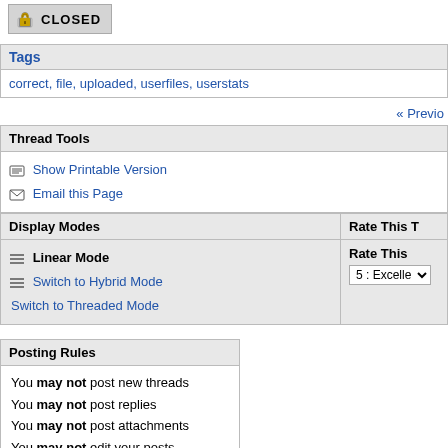[Figure (other): Closed padlock icon with CLOSED label button]
| Tags |
| --- |
| correct, file, uploaded, userfiles, userstats |
« Previo
| Thread Tools |
| --- |
| Show Printable Version
Email this Page |
| Display Modes | Rate This T |
| --- | --- |
| Linear Mode
Switch to Hybrid Mode
Switch to Threaded Mode | Rate This
5 : Excelle |
| Posting Rules |
| --- |
| You may not post new threads
You may not post replies
You may not post attachments
You may not edit your posts |
| BB code is On
Smilies are On
[IMG] code is On
HTML code is Off |
Forum Rules